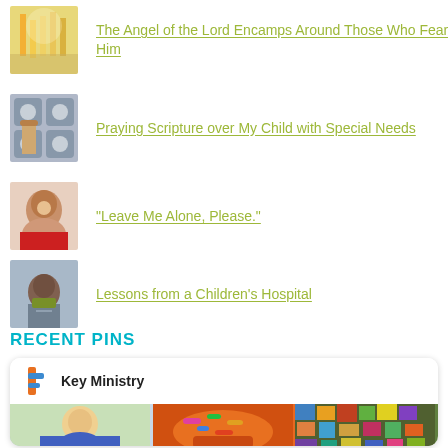The Angel of the Lord Encamps Around Those Who Fear Him
Praying Scripture over My Child with Special Needs
"Leave Me Alone, Please."
Lessons from a Children's Hospital
RECENT PINS
[Figure (screenshot): Key Ministry Pinterest widget showing logo, name, and three pinned images: a child smiling, colorful foam pieces in an orange bowl, and a mosaic/art project]